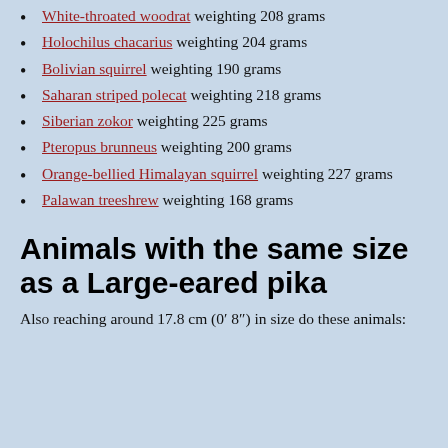White-throated woodrat weighting 208 grams
Holochilus chacarius weighting 204 grams
Bolivian squirrel weighting 190 grams
Saharan striped polecat weighting 218 grams
Siberian zokor weighting 225 grams
Pteropus brunneus weighting 200 grams
Orange-bellied Himalayan squirrel weighting 227 grams
Palawan treeshrew weighting 168 grams
Animals with the same size as a Large-eared pika
Also reaching around 17.8 cm (0′ 8″) in size do these animals: